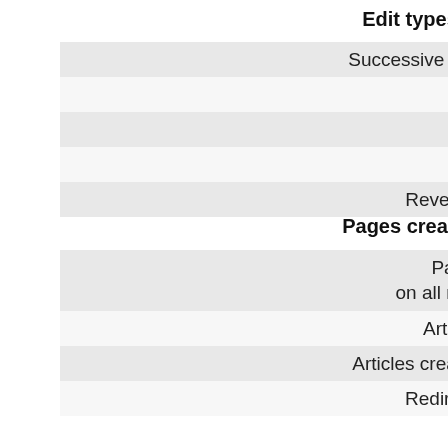Edit types
|  |  |  |
| --- | --- | --- |
| Successive modifications | 1 | 2% |
| Chain edits | 1 | 2% |
| Reverts | 0 | 0% |
| Reverted | 0 | 0% |
| Reverted (articles) | 0 | 0% |
Pages created
|  |  |  |
| --- | --- | --- |
| Pages created on all namespaces | 0 | 0% |
| Articles created | 0 | 0% |
| Articles created in chain | 0 |  |
| Redirects created | 0 |  |
[Figure (pie-chart): Éditions]